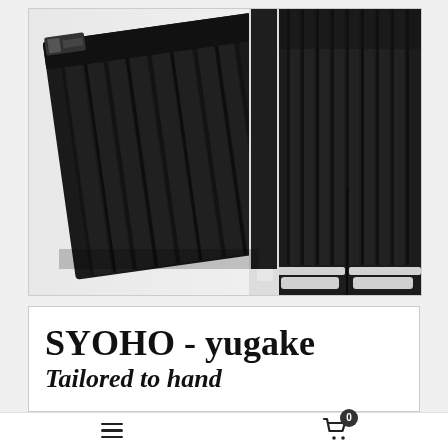[Figure (photo): Product photo showing black hakama (traditional Japanese pleated pants/skirt) in two views: left side shows a dark charcoal pleated hakama with visible pleats and waistband belt, right side shows full black hakama worn showing pleating detail. A faint Japanese kanji watermark is visible in the background.]
SYOHO - yugake
Tailored to hand